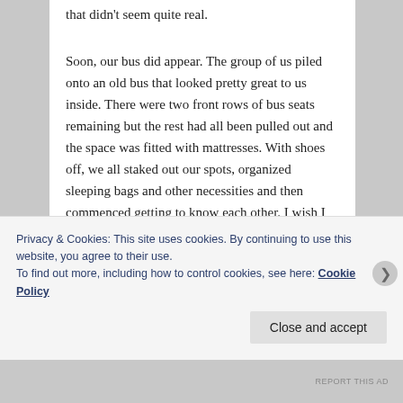that didn't seem quite real.
Soon, our bus did appear. The group of us piled onto an old bus that looked pretty great to us inside. There were two front rows of bus seats remaining but the rest had all been pulled out and the space was fitted with mattresses. With shoes off, we all staked out our spots, organized sleeping bags and other necessities and then commenced getting to know each other. I wish I could remember the names of our terrific group of fellow travelers.
Privacy & Cookies: This site uses cookies. By continuing to use this website, you agree to their use.
To find out more, including how to control cookies, see here: Cookie Policy
REPORT THIS AD